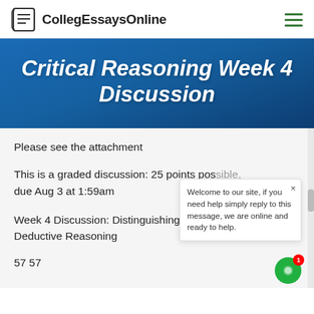CollegEssaysOnline
Critical Reasoning Week 4 Discussion
Please see the attachment
This is a graded discussion: 25 points possible, due Aug 3 at 1:59am
Week 4 Discussion: Distinguishing Inductive and Deductive Reasoning
57 57